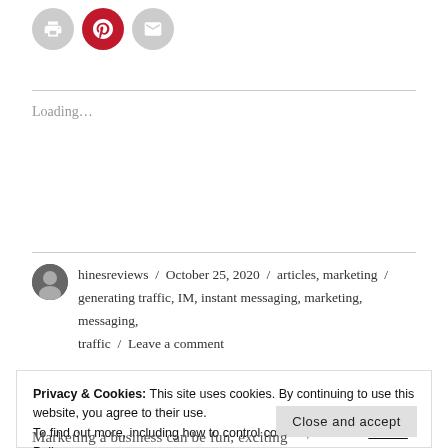[Figure (other): Three circular social sharing icon buttons: print (grey), Pinterest (red), email (grey)]
Loading…
hinesreviews / October 25, 2020 / articles, marketing / generating traffic, IM, instant messaging, marketing, messaging, traffic / Leave a comment
Privacy & Cookies: This site uses cookies. By continuing to use this website, you agree to their use.
To find out more, including how to control cookies, see here: Cookie Policy
Close and accept
Marketing a business can be fun, exciting